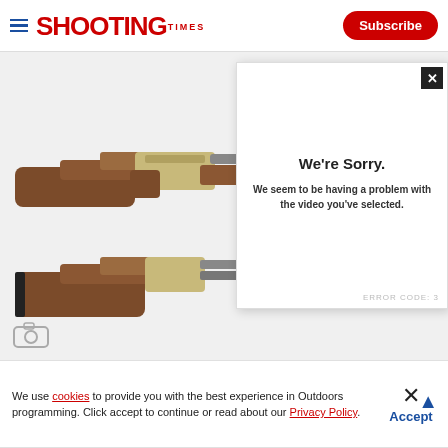SHOOTING TIMES | Subscribe
[Figure (photo): Two shotguns displayed horizontally on a white background — top gun is a full over-under shotgun with walnut stock and silver engraved receiver; bottom shows partial view of similar shotgun stock]
[Figure (screenshot): Video error overlay popup with close X button. Text reads: We're Sorry. We seem to be having a problem with the video you've selected. Error code shown at bottom right.]
We're Sorry.
We seem to be having a problem with the video you've selected.
We use cookies to provide you with the best experience in Outdoors programming. Click accept to continue or read about our Privacy Policy.
[Figure (advertisement): Federal High Over'All ammunition advertisement banner with text: NEW FEDERAL HIGH OVER'ALL MORE WINS on dark fiery background]